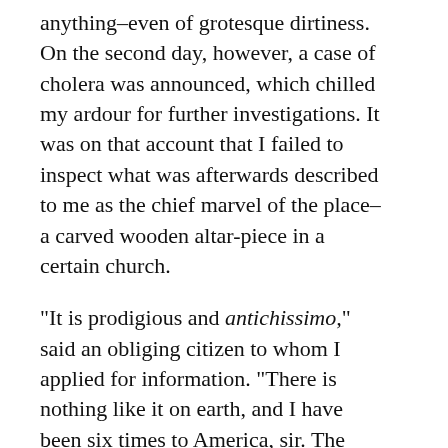anything–even of grotesque dirtiness. On the second day, however, a case of cholera was announced, which chilled my ardour for further investigations. It was on that account that I failed to inspect what was afterwards described to me as the chief marvel of the place–a carved wooden altar-piece in a certain church.
“It is prodigious and antichissimo,” said an obliging citizen to whom I applied for information. “There is nothing like it on earth, and I have been six times to America, sir. The artist–a real artist, mind you, not a common professor–spent